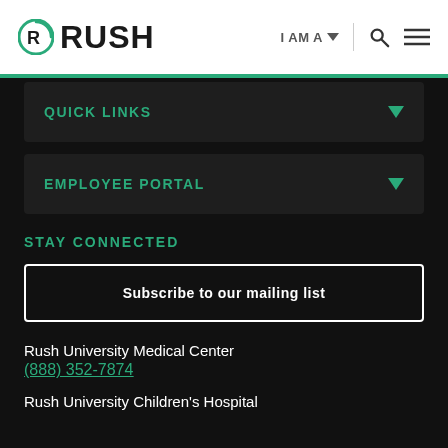RUSH | I AM A | [search] [menu]
QUICK LINKS
EMPLOYEE PORTAL
STAY CONNECTED
Subscribe to our mailing list
Rush University Medical Center
(888) 352-7874
Rush University Children's Hospital